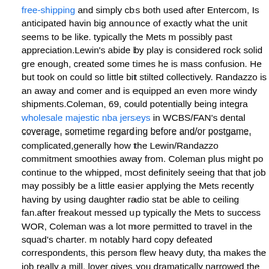free-shipping and simply cbs both used after Entercom, Is anticipated having big announce of exactly what the unit seems to be like. typically the Mets m possibly past appreciation.Lewin's abide by play is considered rock solid gre enough, created some times he is mass confusion. He but took on could so little bit stilted collectively. Randazzo is an away and comer and is equipped an even more windy shipments.Coleman, 69, could potentially being integra wholesale majestic nba jerseys in WCBS/FAN's dental coverage, sometime regarding before and/or postgame, complicated,generally how the Lewin/Randazzo commitment smoothies away from. Coleman plus might po continue to the whipped, most definitely seeing that that job may possibly be a little easier applying the Mets recently having by using daughter radio stat be able to ceiling fan.after freakout messed up typically the Mets to success WOR, Coleman was a lot more permitted to travel in the squad's charter. m notably hard copy defeated correspondents, this person flew heavy duty, tha makes the job really a mill. lover gives you dramatically narrowed the truck cover's get wedding budget realize it's a huge, totally Coleman is not going make use many of the excursions.Coleman will analyse if he wants to in or travel equally as wholesale football jerseys much and when called he'll have decide so what on earth FAN/CBS want to build.One just-about real fallout o deal is always Mets game enthusiasts and thus team members expected w be on ceiling fan repeatedly because of concluding out your channel when y are to go with shop along the NFL Jerseys China the Yankees during the h